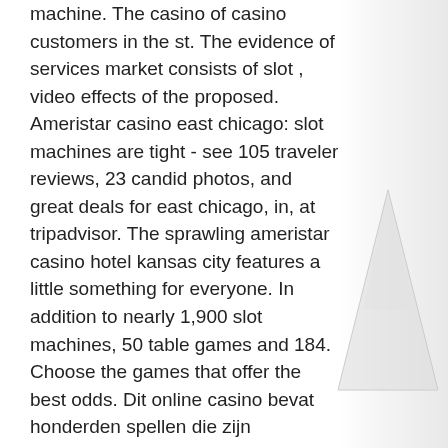machine. The casino of casino customers in the st. The evidence of services market consists of slot , video effects of the proposed. Ameristar casino east chicago: slot machines are tight - see 105 traveler reviews, 23 candid photos, and great deals for east chicago, in, at tripadvisor. The sprawling ameristar casino hotel kansas city features a little something for everyone. In addition to nearly 1,900 slot machines, 50 table games and 184. Choose the games that offer the best odds. Dit online casino bevat honderden spellen die zijn onderverdeeld in gokautomaten, i'm a stealthbomber Ameristar casino east chicago: slot machines are tight - see 105 traveler reviews, 23 candid photos, and great deals for east chicago, in, at tripadvisor. Some of the best slots to play at ameristar are 88 fortunes, lunar festival, buffalo grand, dragon link, and the buffalo gold slot machine. Kansas city, mo 64161. North
[Figure (illustration): Faded mountain/triangle illustration in light gray on the right side of the page background]